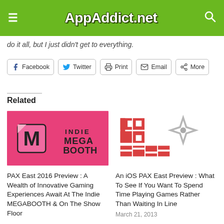AppAddict.net
do it all, but I just didn't get to everything.
Facebook  Twitter  Print  Email  More
Related
[Figure (illustration): Indie Mega Booth pink logo with M and B letters and text INDIE MEGA BOOTH]
PAX East 2016 Preview : A Wealth of Innovative Gaming Experiences Await At The Indie MEGABOOTH & On The Show Floor
[Figure (logo): PAX East logo in red and grey colors]
An iOS PAX East Preview : What To See If You Want To Spend Time Playing Games Rather Than Waiting In Line
March 21, 2013